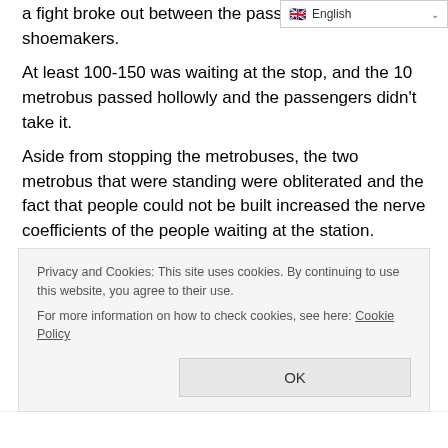[Figure (screenshot): Language selector dropdown showing English flag and 'English' label with chevron]
a fight broke out between the passengers and the shoemakers.
At least 100-150 was waiting at the stop, and the 10 metrobus passed hollowly and the passengers didn't take it.
Aside from stopping the metrobuses, the two metrobus that were standing were obliterated and the fact that people could not be built increased the nerve coefficients of the people waiting at the station.
In this way, the crowd, who waited for about 8-10 minutes and was angry about the empty metrobus, finally cut the metrobus road. The fact that the Metrobus drivers also responded to passengers by saying “Why are you idle and you do not stop?” By hand gestures increased the tension.
Finally, passengers who went down the bus, did not allow the
Privacy and Cookies: This site uses cookies. By continuing to use this website, you agree to their use.
For more information on how to check cookies, see here: Cookie Policy